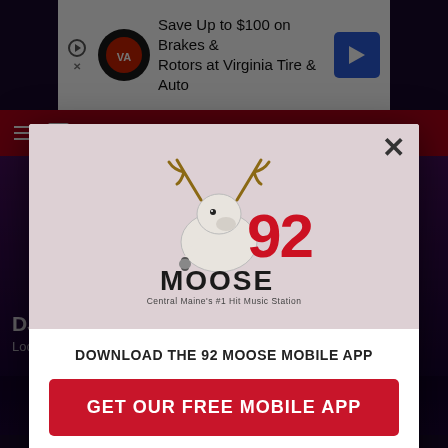[Figure (screenshot): Top advertisement banner: Save Up to $100 on Brakes & Rotors at Virginia Tire & Auto, with Virginia Tire & Auto logo and blue direction arrow icon]
[Figure (logo): 92 Moose radio station logo — moose character with '92 MOOSE' text and tagline 'Central Maine's #1 Hit Music Station']
DOWNLOAD THE 92 MOOSE MOBILE APP
GET OUR FREE MOBILE APP
Also listen on: amazon alexa
DJ Hudshit at the Radio Bar
Local t... ...t this
[Figure (screenshot): Bottom advertisement banner: Save Up to $100 on Brakes & Rotors at Virginia Tire & Auto, with Virginia Tire & Auto logo and blue direction arrow icon]